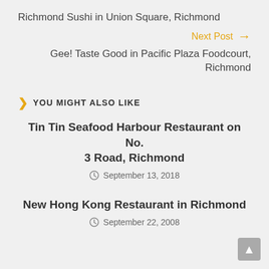Richmond Sushi in Union Square, Richmond
Next Post →
Gee! Taste Good in Pacific Plaza Foodcourt, Richmond
YOU MIGHT ALSO LIKE
Tin Tin Seafood Harbour Restaurant on No. 3 Road, Richmond
September 13, 2018
New Hong Kong Restaurant in Richmond
September 22, 2008